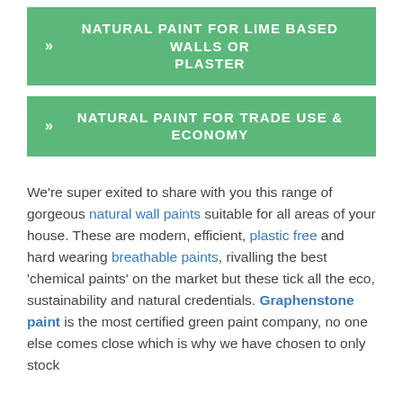» NATURAL PAINT FOR LIME BASED WALLS OR PLASTER
» NATURAL PAINT FOR TRADE USE & ECONOMY
We're super exited to share with you this range of gorgeous natural wall paints suitable for all areas of your house. These are modern, efficient, plastic free and hard wearing breathable paints, rivalling the best 'chemical paints' on the market but these tick all the eco, sustainability and natural credentials. Graphenstone paint is the most certified green paint company, no one else comes close which is why we have chosen to only stock